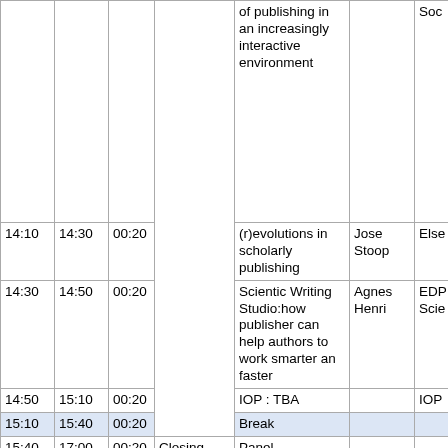| Start | End | Dur | Session | Title | Speaker | Org |
| --- | --- | --- | --- | --- | --- | --- |
|  |  |  |  | of publishing in an increasingly interactive environment |  | Soc |
| 14:10 | 14:30 | 00:20 |  | (r)evolutions in scholarly publishing | Jose Stoop | Else |
| 14:30 | 14:50 | 00:20 |  | Scientic Writing Studio:how publisher can help authors to work smarter an faster | Agnes Henri | EDP Scie |
| 14:50 | 15:10 | 00:20 |  | IOP : TBA |  | IOP |
| 15:10 | 15:40 | 00:20 | Break |  |  |  |
| 15:40 | 17:00 | 00:20 | Closing session | Panel |  |  |
| 17:00 | 17:30 | 00:20 |  | Closing |  |  |
Saturday, 10 june
|  |  |  |  |  |  |  |
| --- | --- | --- | --- | --- | --- | --- |
|  |  |  |  |  |  |  |